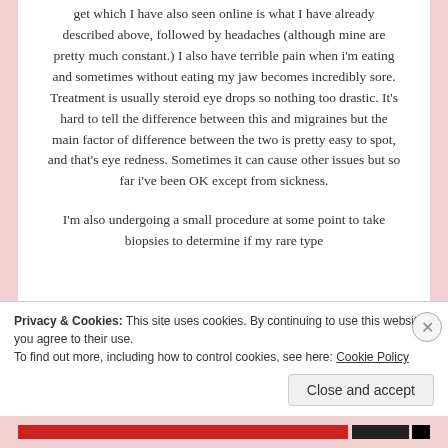get which I have also seen online is what I have already described above, followed by headaches (although mine are pretty much constant.) I also have terrible pain when i'm eating and sometimes without eating my jaw becomes incredibly sore. Treatment is usually steroid eye drops so nothing too drastic. It's hard to tell the difference between this and migraines but the main factor of difference between the two is pretty easy to spot, and that's eye redness. Sometimes it can cause other issues but so far i've been OK except from sickness.

I'm also undergoing a small procedure at some point to take biopsies to determine if my rare type
Privacy & Cookies: This site uses cookies. By continuing to use this website, you agree to their use.
To find out more, including how to control cookies, see here: Cookie Policy

Close and accept